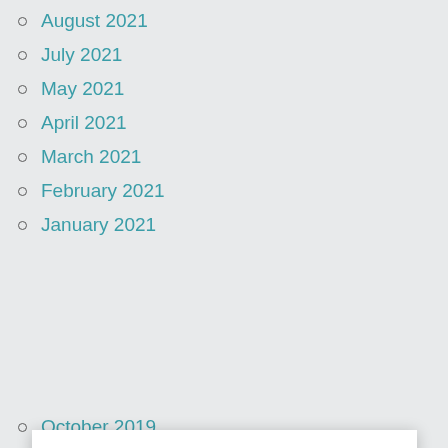August 2021
July 2021
May 2021
April 2021
March 2021
February 2021
January 2021
We use cookies on our website to give you the most relevant experience by remembering your preferences and repeat visits. By clicking “Accept”, you consent to the use of ALL the cookies.
Do not sell my personal information.
October 2019